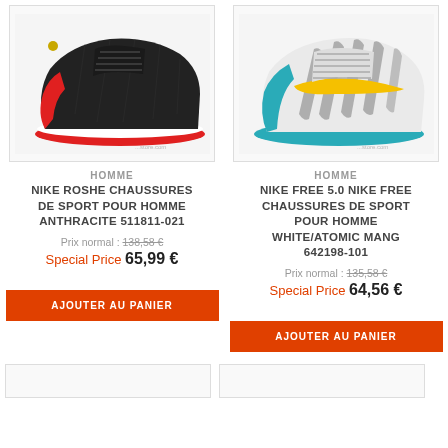[Figure (photo): Nike Roshe black and red sneaker shoe on white background]
[Figure (photo): Nike Free 5.0 white and teal sneaker shoe on white background]
HOMME
NIKE ROSHE CHAUSSURES DE SPORT POUR HOMME ANTHRACITE 511811-021
Prix normal : 138,58 €
Special Price 65,99 €
HOMME
NIKE FREE 5.0 NIKE FREE CHAUSSURES DE SPORT POUR HOMME WHITE/ATOMIC MANG 642198-101
Prix normal : 135,58 €
Special Price 64,56 €
AJOUTER AU PANIER
AJOUTER AU PANIER